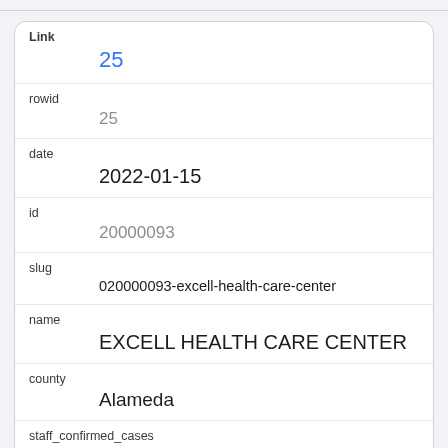| Field | Value |
| --- | --- |
| Link | 25 |
| rowid | 25 |
| date | 2022-01-15 |
| id | 20000093 |
| slug | 020000093-excell-health-care-center |
| name | EXCELL HEALTH CARE CENTER |
| county | Alameda |
| staff_confirmed_cases | 52 |
| patients_confirmed_cases | 83 |
| staff_deaths |  |